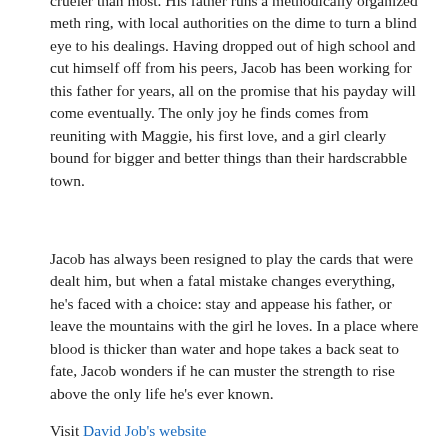crueler than most. His father runs a methodically organized meth ring, with local authorities on the dime to turn a blind eye to his dealings. Having dropped out of high school and cut himself off from his peers, Jacob has been working for this father for years, all on the promise that his payday will come eventually. The only joy he finds comes from reuniting with Maggie, his first love, and a girl clearly bound for bigger and better things than their hardscrabble town.
Jacob has always been resigned to play the cards that were dealt him, but when a fatal mistake changes everything, he's faced with a choice: stay and appease his father, or leave the mountains with the girl he loves. In a place where blood is thicker than water and hope takes a back seat to fate, Jacob wonders if he can muster the strength to rise above the only life he's ever known.
Visit David Job's website